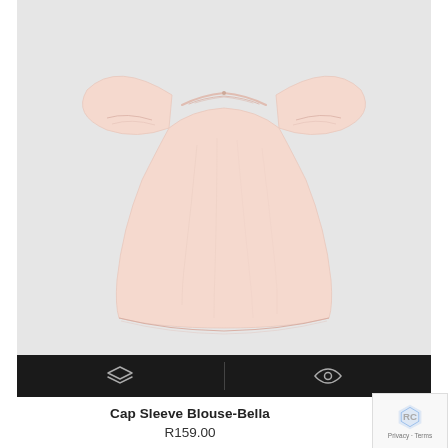[Figure (photo): A light pink cap sleeve blouse for children (Bella style) laid flat on a white/light grey background. The blouse has wide flutter/cap sleeves, a gathered round neckline, and an A-line silhouette.]
Cap Sleeve Blouse-Bella
R159.00